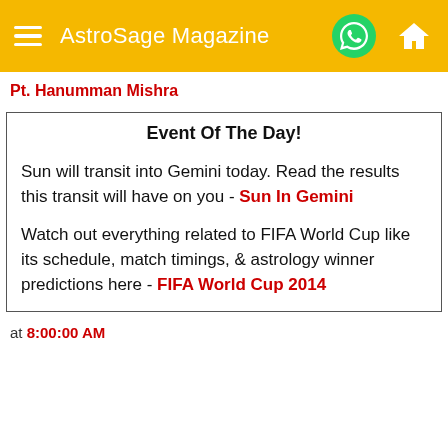AstroSage Magazine
Pt. Hanumman Mishra
Event Of The Day!
Sun will transit into Gemini today. Read the results this transit will have on you - Sun In Gemini
Watch out everything related to FIFA World Cup like its schedule, match timings, & astrology winner predictions here - FIFA World Cup 2014
at 8:00:00 AM